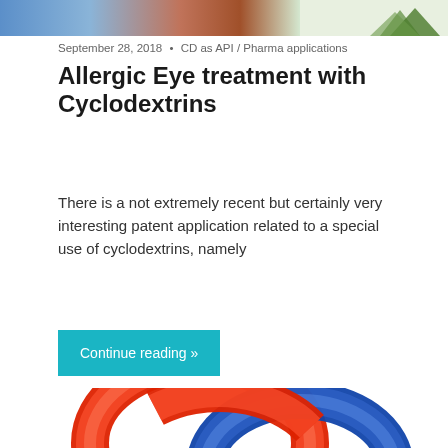[Figure (photo): Top banner image — partial view of a photo (medical/pharma themed) cropped at the top of the page, with a small decorative pine/plant element visible at top right.]
September 28, 2018  •  CD as API / Pharma applications
Allergic Eye treatment with Cyclodextrins
There is a not extremely recent but certainly very interesting patent application related to a special use of cyclodextrins, namely
Continue reading »
[Figure (illustration): Two interlocked 3D torus rings — one red and one blue — representing cyclodextrin molecular structure or linking concept, partially visible at the bottom of the page.]